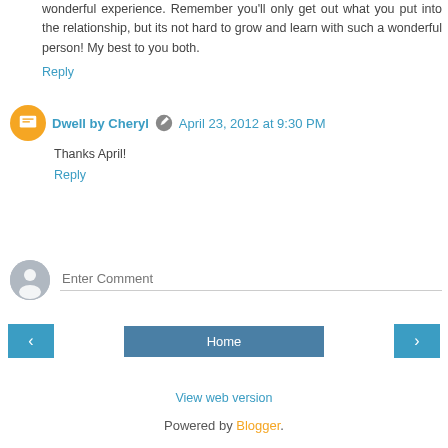wonderful experience. Remember you'll only get out what you put into the relationship, but its not hard to grow and learn with such a wonderful person! My best to you both.
Reply
Dwell by Cheryl  April 23, 2012 at 9:30 PM
Thanks April!
Reply
[Figure (other): Enter comment input box with gray avatar user icon]
Enter Comment
< Home >
View web version
Powered by Blogger.